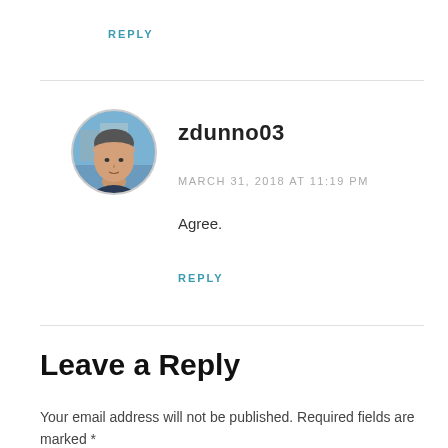REPLY
[Figure (photo): Circular avatar photo of a middle-aged man (zdunno03) with blue background]
zdunno03
MARCH 31, 2018 AT 11:19 PM
Agree.
REPLY
Leave a Reply
Your email address will not be published. Required fields are marked *